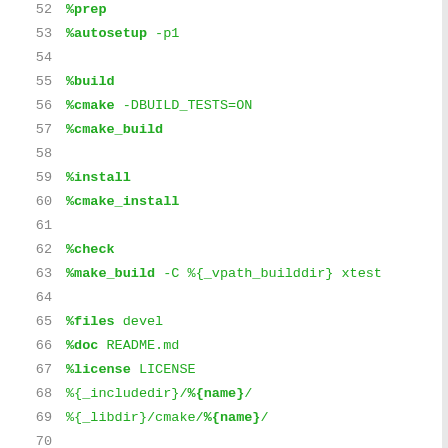52   %prep
53   %autosetup -p1
54
55   %build
56   %cmake -DBUILD_TESTS=ON
57   %cmake_build
58
59   %install
60   %cmake_install
61
62   %check
63   %make_build -C %{_vpath_builddir} xtest
64
65   %files devel
66   %doc README.md
67   %license LICENSE
68   %{_includedir}/%{name}/
69   %{_libdir}/cmake/%{name}/
70
71   %changelog
72   * Sat Jul 23 2022 Fedora Release Engineer
73   - Rebuilt for https://fedoraproject.org/
74
75   * Wed May 11 2022 squelton@redhat.com